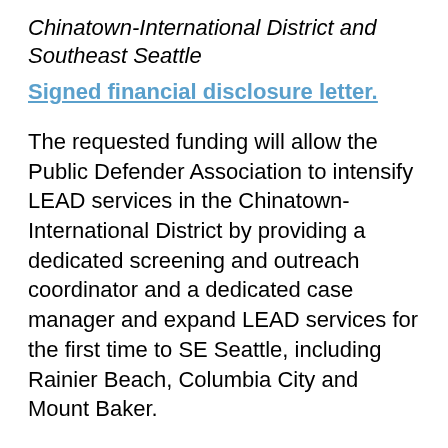Chinatown-International District and Southeast Seattle
Signed financial disclosure letter.
The requested funding will allow the Public Defender Association to intensify LEAD services in the Chinatown-International District by providing a dedicated screening and outreach coordinator and a dedicated case manager and expand LEAD services for the first time to SE Seattle, including Rainier Beach, Columbia City and Mount Baker.
LEAD (Law Enforcement Assisted Diversion/Let Everyone Advance with Dignity) is an evidence-based, widely supported outreach and case management response to low-level crime related to substance use disorder. LEAD is recognized as